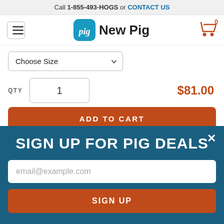Call 1-855-493-HOGS or CONTACT US
[Figure (screenshot): New Pig website navigation bar with hamburger menu, New Pig logo (pig icon + text), and shopping cart icon with 0 items]
Choose Size (dropdown)
QTY  1   $81.00
ADD TO CART
SIGN UP FOR PIG DEALS
email@example.com
SIGN UP